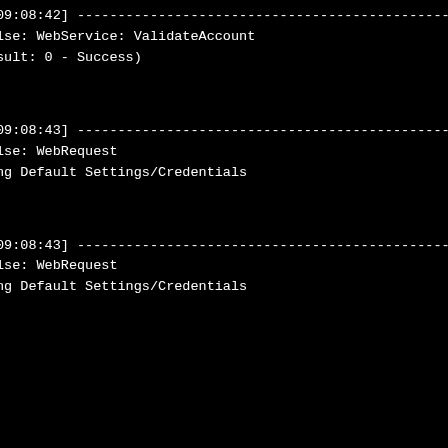09:08:42] --------------------------------------------------------
Ise: WebService: ValidateAccount
sult: 0 - Success)
09:08:43] --------------------------------------------------------
Ise: WebRequest
ng Default Settings/Credentials
09:08:43] --------------------------------------------------------
Ise: WebRequest
ng Default Settings/Credentials